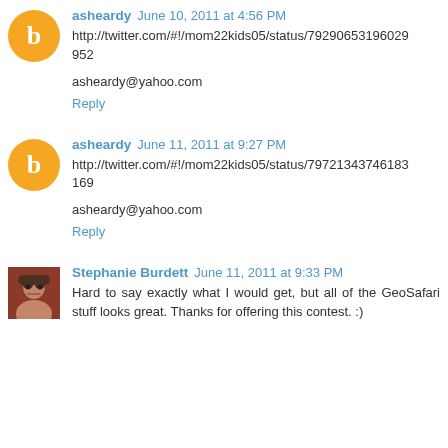asheardy June 10, 2011 at 4:56 PM
http://twitter.com/#!/mom22kids05/status/79290653196029952
asheardy@yahoo.com
Reply
asheardy June 11, 2011 at 9:27 PM
http://twitter.com/#!/mom22kids05/status/79721343746183169
asheardy@yahoo.com
Reply
Stephanie Burdett June 11, 2011 at 9:33 PM
Hard to say exactly what I would get, but all of the GeoSafari stuff looks great. Thanks for offering this contest. :)